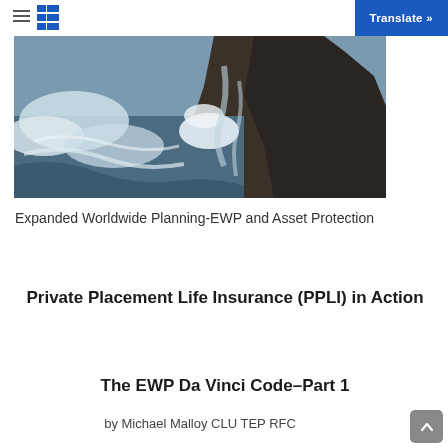Translate »
[Figure (photo): Aerial or close-up photograph of ocean waves crashing against a dark rocky cliff or sea stack, with white foam spray visible]
Expanded Worldwide Planning-EWP and Asset Protection
Private Placement Life Insurance (PPLI) in Action
The EWP Da Vinci Code–Part 1
by Michael Malloy CLU TEP RFC